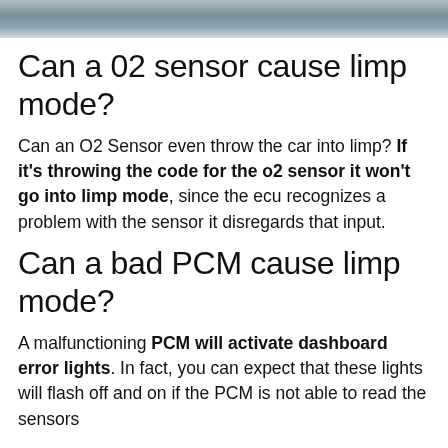[Figure (photo): Partial photo of a car engine or metallic automotive surface, cropped at the top of the page.]
Can a 02 sensor cause limp mode?
Can an O2 Sensor even throw the car into limp? If it's throwing the code for the o2 sensor it won't go into limp mode, since the ecu recognizes a problem with the sensor it disregards that input.
Can a bad PCM cause limp mode?
A malfunctioning PCM will activate dashboard error lights. In fact, you can expect that these lights will flash off and on if the PCM is not able to read the sensors